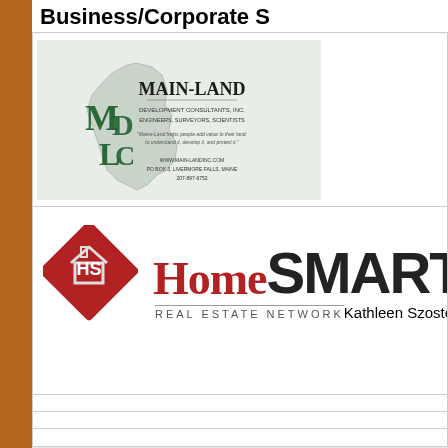Business/Corporate S
[Figure (logo): MAIN-LAND Development Consultants Inc. business card with Maine state outline graphic and MLDC letters]
[Figure (logo): HomeSmart Real Estate Network logo with red diamond icon and Kathleen Szostek name]